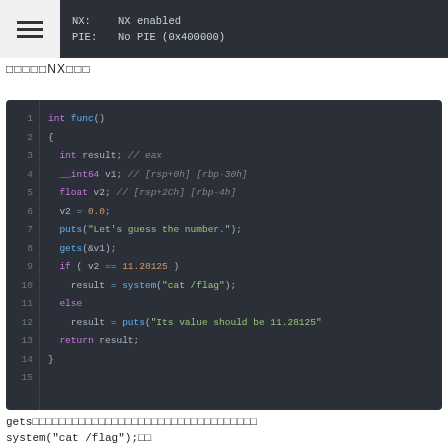[Figure (screenshot): Terminal/security tool output showing NX: NX enabled and PIE: No PIE (0x400000)]
□□□□□NX□□□
[Figure (screenshot): Code editor showing C pseudocode of func() with gets buffer overflow vulnerability and system('cat /flag') call]
gets□□□□□□□□□□□□□□□□□□□□□□□□□□□□□□□□□□
system("cat /flag");□□